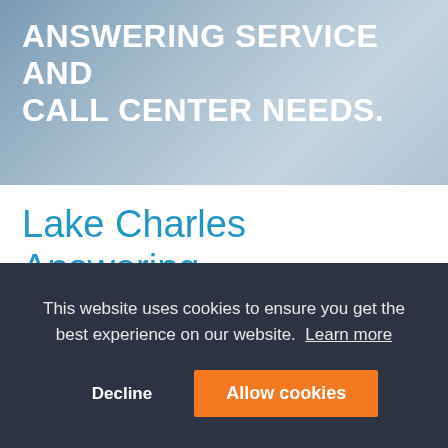ANSWERING SERVICE AND CALL CENTER NEEDS.
Lake Charles Answering Service
Home / Services / United States / Louisiana Answering Service and Call Center Solutions / Lake Charles Answering Service
MAP Communications Lake Charles
This website uses cookies to ensure you get the best experience on our website. Learn more
Decline
Allow cookies